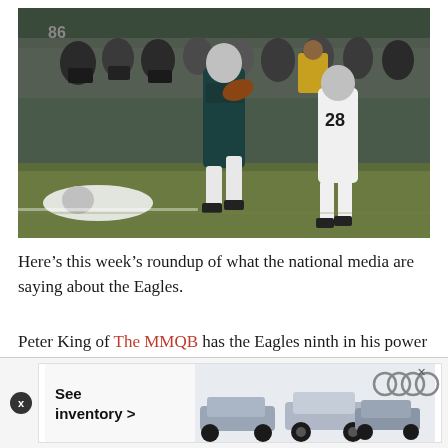[Figure (photo): NFL action photo showing an Eagles player in dark teal/green uniform jumping and running with the ball while a New Orleans Saints player number 28 in white uniform chases him. Sideline crowd of photographers and spectators visible in background. Another player is on the ground at left.]
Here’s this week’s roundup of what the national media are saying about the Eagles.
Peter King of The MMQB has the Eagles ninth in his power rankings:
[Figure (screenshot): Advertisement banner for Audi showing cars and text 'See inventory >']